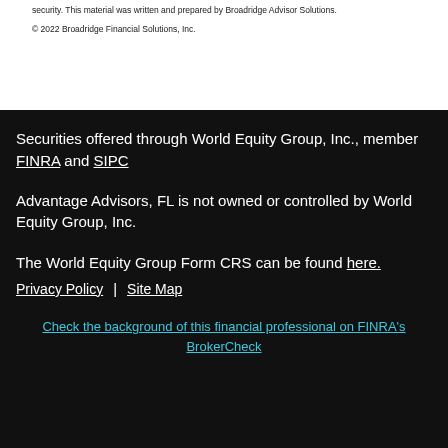security. This material was written and prepared by Broadridge Advisor Solutions.
© 2022 Broadridge Financial Solutions, Inc.
Securities offered through World Equity Group, Inc., member FINRA and SIPC
Advantage Advisors, FL is not owned or controlled by World Equity Group, Inc.
The World Equity Group Form CRS can be found here.
Privacy Policy | Site Map
Check the background of this financial professional on FINRA's BrokerCheck